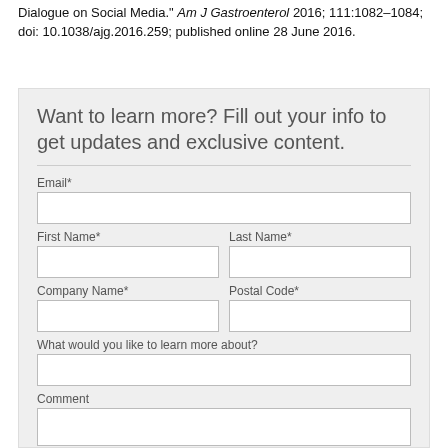Dialogue on Social Media." Am J Gastroenterol 2016; 111:1082–1084; doi: 10.1038/ajg.2016.259; published online 28 June 2016.
Want to learn more? Fill out your info to get updates and exclusive content.
Email*
First Name*
Last Name*
Company Name*
Postal Code*
What would you like to learn more about?
Comment